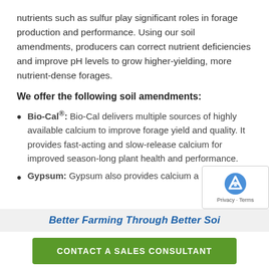nutrients such as sulfur play significant roles in forage production and performance. Using our soil amendments, producers can correct nutrient deficiencies and improve pH levels to grow higher-yielding, more nutrient-dense forages.
We offer the following soil amendments:
Bio-Cal®: Bio-Cal delivers multiple sources of highly available calcium to improve forage yield and quality. It provides fast-acting and slow-release calcium for improved season-long plant health and performance.
Gypsum: Gypsum also provides calcium a…
Better Farming Through Better Soi…
CONTACT A SALES CONSULTANT